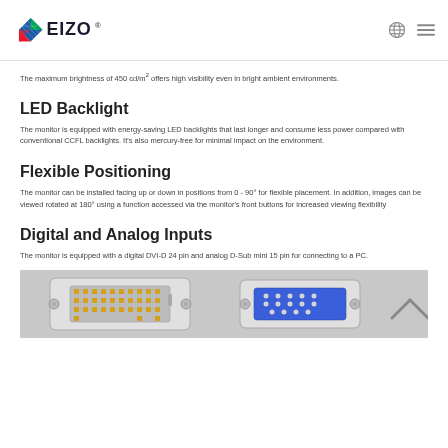EIZO
The maximum brightness of 450 cd/m² offers high visibility even in bright ambient environments.
LED Backlight
The monitor is equipped with energy-saving LED backlights that last longer and consume less power compared with conventional CCFL backlights. It's also mercury-free for minimal impact on the environment.
Flexible Positioning
The monitor can be installed facing up or down in positions from 0 - 90° for flexible placement. In addition, images can be viewed rotated at 180° using a function accessed via the monitor's front buttons for increased viewing flexibility
Digital and Analog Inputs
The monitor is equipped with a digital DVI-D 24 pin and analog D-Sub mini 15 pin for connecting to a PC.
[Figure (photo): Photo showing a DVI-D 24 pin connector and a D-Sub VGA connector on the back of a monitor.]